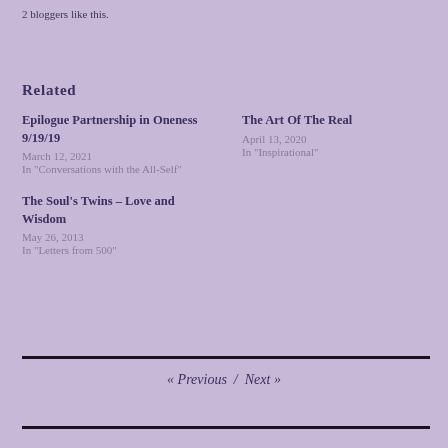2 bloggers like this.
Related
Epilogue Partnership in Oneness 9/19/19
March 12, 2021
In "Conversations with the All-Self"
The Art Of The Real
April 13, 2020
In "Inspirational"
The Soul's Twins – Love and Wisdom
May 26, 2013
In "Letters from 500"
« Previous / Next »